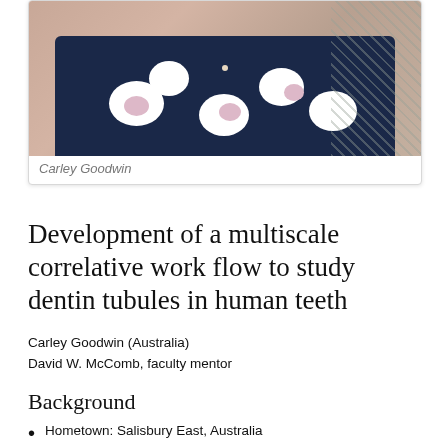[Figure (photo): Photo of Carley Goodwin wearing a navy floral patterned top, cropped to show torso/neckline area]
Carley Goodwin
Development of a multiscale correlative work flow to study dentin tubules in human teeth
Carley Goodwin (Australia)
David W. McComb, faculty mentor
Background
Hometown: Salisbury East, Australia
Degrees received: Bachelor of Engineering in chemical